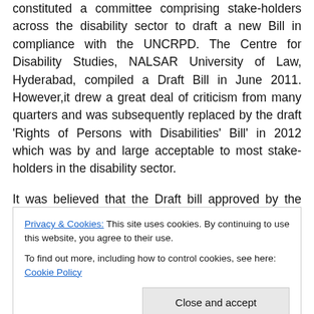constituted a committee comprising stake-holders across the disability sector to draft a new Bill in compliance with the UNCRPD. The Centre for Disability Studies, NALSAR University of Law, Hyderabad, compiled a Draft Bill in June 2011. However,it drew a great deal of criticism from many quarters and was subsequently replaced by the draft 'Rights of Persons with Disabilities' Bill' in 2012 which was by and large acceptable to most stake-holders in the disability sector.
It was believed that the Draft bill approved by the Cabinet in late 2013 would be substantially similar. However,
Privacy & Cookies: This site uses cookies. By continuing to use this website, you agree to their use.
To find out more, including how to control cookies, see here: Cookie Policy
sector, which had lobbied in unison in December 2013 for